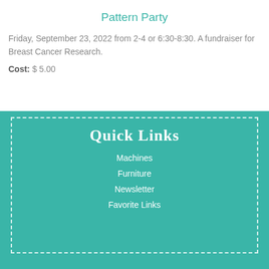Pattern Party
Friday, September 23, 2022 from 2-4 or 6:30-8:30. A fundraiser for Breast Cancer Research.
Cost: $ 5.00
Quick Links
Machines
Furniture
Newsletter
Favorite Links